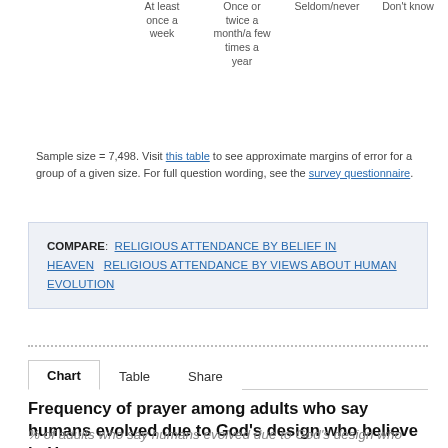| At least once a week | Once or twice a month/a few times a year | Seldom/never | Don't know |
| --- | --- | --- | --- |
Sample size = 7,498. Visit this table to see approximate margins of error for a group of a given size. For full question wording, see the survey questionnaire.
COMPARE: RELIGIOUS ATTENDANCE BY BELIEF IN HEAVEN   RELIGIOUS ATTENDANCE BY VIEWS ABOUT HUMAN EVOLUTION
Chart   Table   Share
Frequency of prayer among adults who say humans evolved due to God's design who believe in Heaven
% of adults who say humans evolved due to God's design who believe in Heaven who pray...